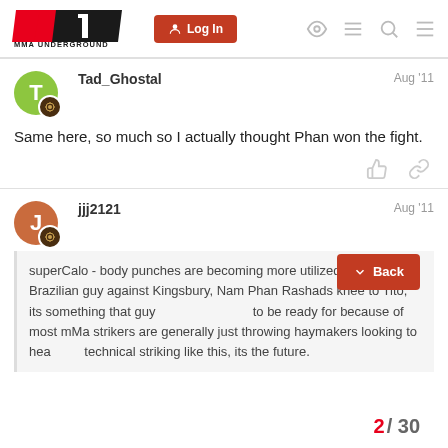MMA Underground — Log In
Tad_Ghostal   Aug '11
Same here, so much so I actually thought Phan won the fight.
jjj2121   Aug '11
superCalo - body punches are becoming more utilized in mMa, that Brazilian guy against Kingsbury, Nam Phan Rashads knee to Tito, its something that guy... to be ready for because of most mMa strikers are generally just throwing haymakers looking to head... technical striking like this, its the future.
2 / 30